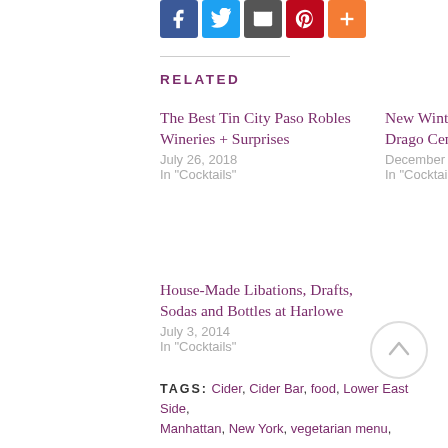[Figure (other): Row of social sharing icons: Facebook (blue), Twitter (light blue), Email/envelope (dark gray), Pinterest (red), More/plus (orange)]
Related
The Best Tin City Paso Robles Wineries + Surprises
July 26, 2018
In "Cocktails"
New Winter Cocktail Menu at Drago Centro
December 28, 2011
In "Cocktails"
House-Made Libations, Drafts, Sodas and Bottles at Harlowe
July 3, 2014
In "Cocktails"
TAGS: Cider, Cider Bar, food, Lower East Side, Manhattan, New York, vegetarian menu,